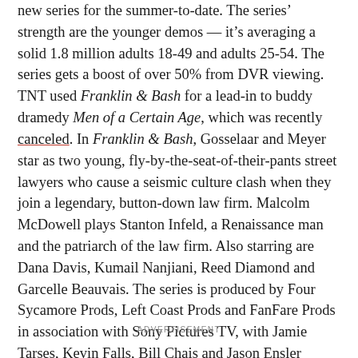new series for the summer-to-date. The series' strength are the younger demos — it's averaging a solid 1.8 million adults 18-49 and adults 25-54. The series gets a boost of over 50% from DVR viewing. TNT used Franklin & Bash for a lead-in to buddy dramedy Men of a Certain Age, which was recently canceled. In Franklin & Bash, Gosselaar and Meyer star as two young, fly-by-the-seat-of-their-pants street lawyers who cause a seismic culture clash when they join a legendary, button-down law firm. Malcolm McDowell plays Stanton Infeld, a Renaissance man and the patriarch of the law firm. Also starring are Dana Davis, Kumail Nanjiani, Reed Diamond and Garcelle Beauvais. The series is produced by Four Sycamore Prods, Left Coast Prods and FanFare Prods in association with Sony Pictures TV, with Jamie Tarses, Kevin Falls, Bill Chais and Jason Ensler serving as executive producers.
ADVERTISEMENT